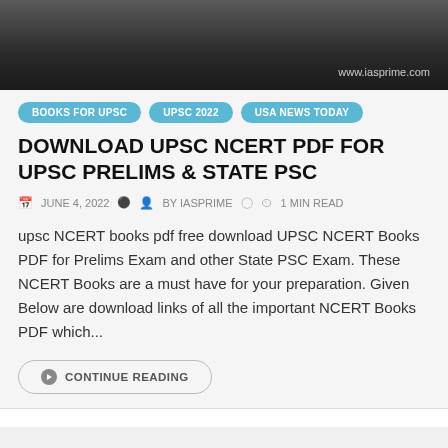[Figure (screenshot): Dark gradient header banner with website URL www.iasprime.com in bottom right corner]
www.iasprime.com
BOOKS FOR UPSC   UPSC 2022   USA NEWS TODAY
DOWNLOAD UPSC NCERT PDF FOR UPSC PRELIMS & STATE PSC
JUNE 4, 2022   BY IASPRIME   1 MIN READ
upsc NCERT books pdf free download UPSC NCERT Books PDF for Prelims Exam and other State PSC Exam. These NCERT Books are a must have for your preparation. Given Below are download links of all the important NCERT Books PDF which...
CONTINUE READING